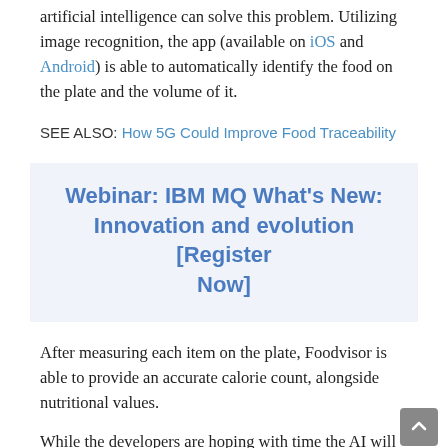artificial intelligence can solve this problem. Utilizing image recognition, the app (available on iOS and Android) is able to automatically identify the food on the plate and the volume of it.
SEE ALSO: How 5G Could Improve Food Traceability
Webinar: IBM MQ What's New: Innovation and evolution [Register Now]
After measuring each item on the plate, Foodvisor is able to provide an accurate calorie count, alongside nutritional values.
While the developers are hoping with time the AI will broaden its understanding of food items, reviews on the Google Play Store suggest the system is unable to recognize certain foods. It is also unable to recognize harder to distinguish things like sauces, oils, and seasonings.